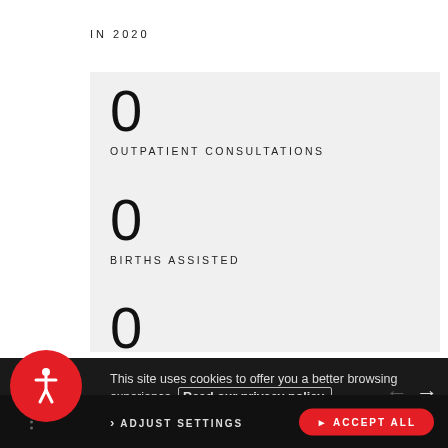IN 2020
0
OUTPATIENT CONSULTATIONS
0
BIRTHS ASSISTED
0
CHILDREN ADMITTED TO INPATIENT FEEDING PROGRAMMES
This site uses cookies to offer you a better browsing experience. Read our privacy policy.
ADJUST SETTINGS
ACCEPT ALL